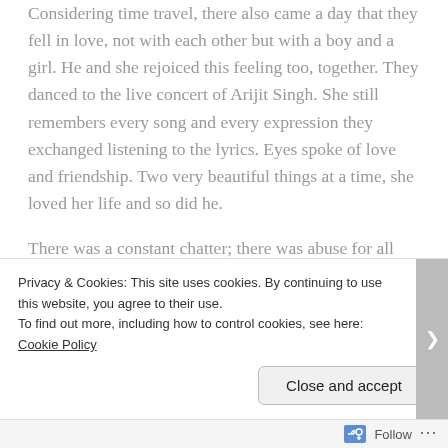Considering time travel, there also came a day that they fell in love, not with each other but with a boy and a girl. He and she rejoiced this feeling too, together. They danced to the live concert of Arijit Singh. She still remembers every song and every expression they exchanged listening to the lyrics. Eyes spoke of love and friendship. Two very beautiful things at a time, she loved her life and so did he.

There was a constant chatter; there was abuse for all that they made each other do. They respected each other's dreams and were fascinated by them too.
Privacy & Cookies: This site uses cookies. By continuing to use this website, you agree to their use.
To find out more, including how to control cookies, see here: Cookie Policy
Close and accept
Follow